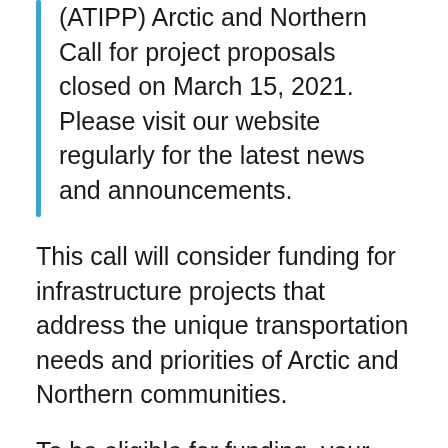(ATIPP) Arctic and Northern Call for project proposals closed on March 15, 2021. Please visit our website regularly for the latest news and announcements.
This call will consider funding for infrastructure projects that address the unique transportation needs and priorities of Arctic and Northern communities.
To be eligible for funding, your projects must specifically target, or be located in, one of the following northern geographic locations within Canada: